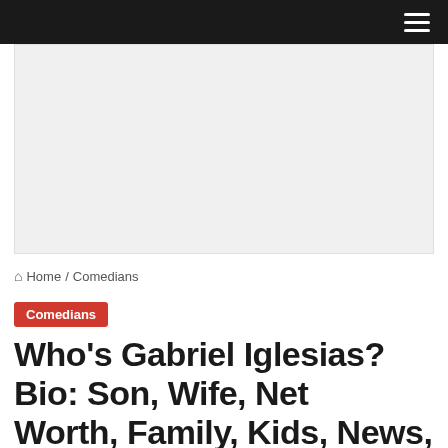Navigation bar with hamburger menu
[Figure (other): Advertisement placeholder banner, light gray background]
Home / Comedians
Comedians
Who's Gabriel Iglesias? Bio: Son, Wife, Net Worth, Family, Kids, News, Married